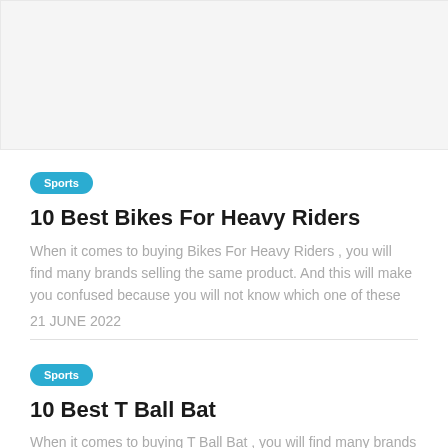[Figure (photo): Placeholder image area, light gray background]
Sports
10 Best Bikes For Heavy Riders
When it comes to buying Bikes For Heavy Riders , you will find many brands selling the same product. And this will make you confused because you will not know which one of these
21 JUNE 2022
Sports
10 Best T Ball Bat
When it comes to buying T Ball Bat , you will find many brands selling the same product. And this will make you confused